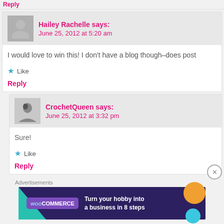Reply
Hailey Rachelle says: June 25, 2012 at 5:20 am
I would love to win this! I don't have a blog though–does post
★ Like
Reply
CrochetQueen says: June 25, 2012 at 3:32 pm
Sure!
★ Like
Reply
[Figure (other): WooCommerce advertisement banner: 'Turn your hobby into a business in 8 steps']